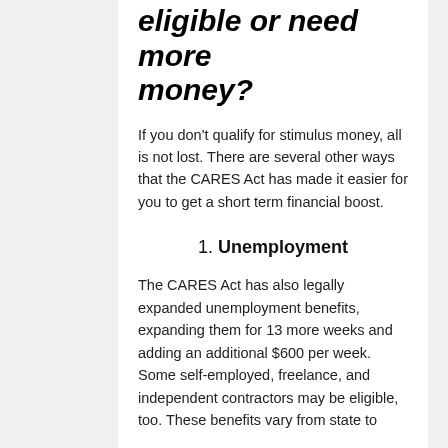eligible or need more money?
If you don't qualify for stimulus money, all is not lost. There are several other ways that the CARES Act has made it easier for you to get a short term financial boost.
1. Unemployment
The CARES Act has also legally expanded unemployment benefits, expanding them for 13 more weeks and adding an additional $600 per week. Some self-employed, freelance, and independent contractors may be eligible, too. These benefits vary from state to